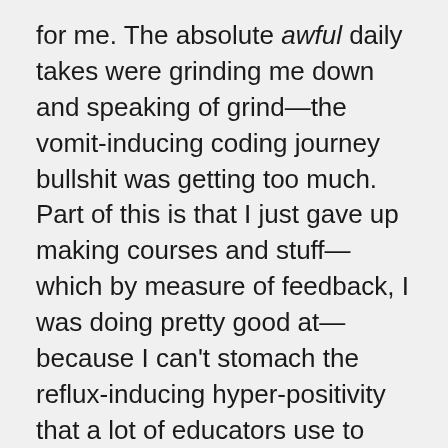for me. The absolute awful daily takes were grinding me down and speaking of grind—the vomit-inducing coding journey bullshit was getting too much. Part of this is that I just gave up making courses and stuff—which by measure of feedback, I was doing pretty good at—because I can't stomach the reflux-inducing hyper-positivity that a lot of educators use to flog courses. I'm too pessimistic and frankly, British to do that. I've actually enjoyed slingin' code for clients instead.
I've pretty much already been booked